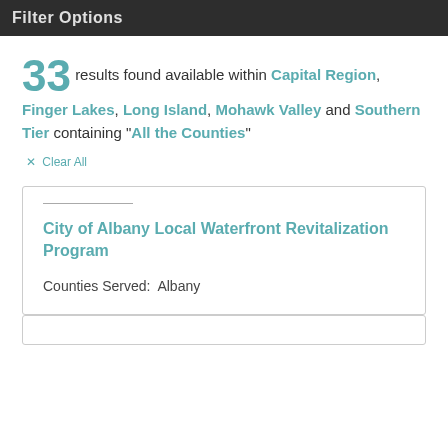Filter Options
33 results found available within Capital Region, Finger Lakes, Long Island, Mohawk Valley and Southern Tier containing "All the Counties"
✕ Clear All
City of Albany Local Waterfront Revitalization Program
Counties Served:  Albany